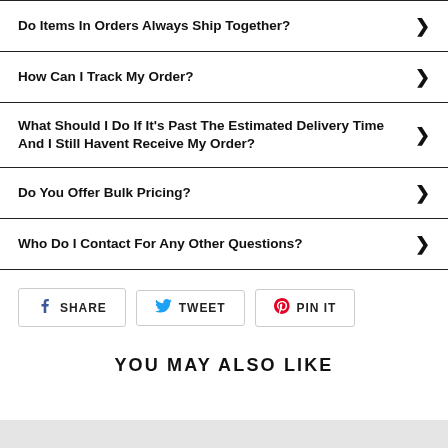Do Items In Orders Always Ship Together?
How Can I Track My Order?
What Should I Do If It's Past The Estimated Delivery Time And I Still Havent Receive My Order?
Do You Offer Bulk Pricing?
Who Do I Contact For Any Other Questions?
[Figure (infographic): Social share buttons: SHARE (Facebook), TWEET (Twitter), PIN IT (Pinterest)]
YOU MAY ALSO LIKE